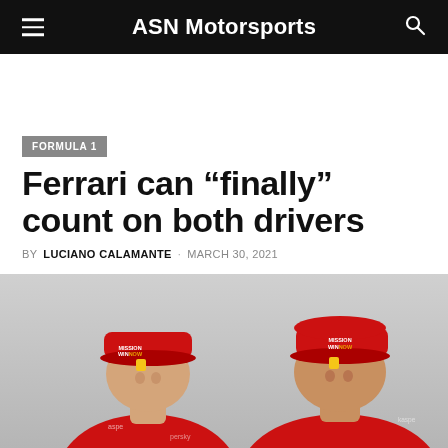ASN Motorsports
FORMULA 1
Ferrari can “finally” count on both drivers
BY LUCIANO CALAMANTE · MARCH 30, 2021
[Figure (photo): Two Ferrari Formula 1 drivers wearing red Mission Winnow caps and race suits, photographed from the shoulders up, facing each other slightly]